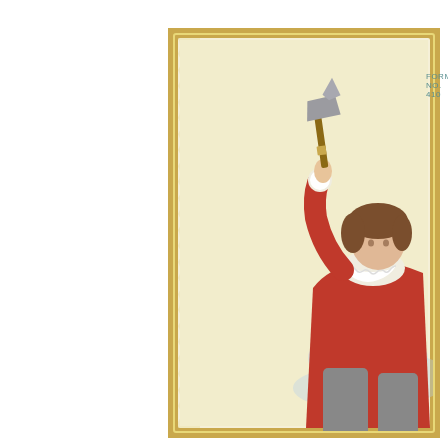[Figure (illustration): Vintage trade card or chromolithograph illustration showing a partial view. The card has a gold/yellow ornate border with deckled/torn edge effect on the left side. The background of the card is a pale cream/yellow. In the upper right portion, a figure dressed in a red Renaissance-style costume with white lace collar and cuffs is raising a hand holding a small hammer or mallet above their head. The figure has brown curly hair. Blue cloud-like shapes are visible in the lower right background. The text 'FORM NO. 410' appears in small teal/green letters near the top center of the card area. The left half of the image is white, suggesting only part of the card is visible.]